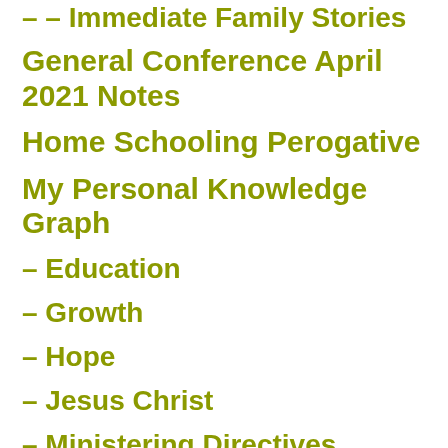– – Immediate Family Stories
General Conference April 2021 Notes
Home Schooling Perogative
My Personal Knowledge Graph
– Education
– Growth
– Hope
– Jesus Christ
– Ministering Directives
– Prayer
– Self Improvement